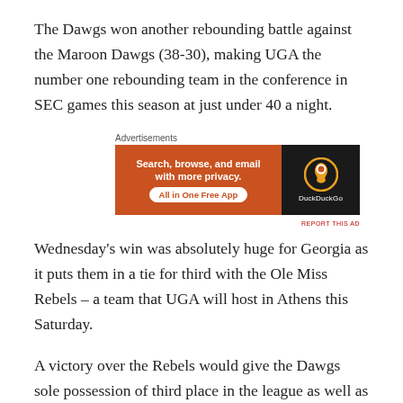The Dawgs won another rebounding battle against the Maroon Dawgs (38-30), making UGA the number one rebounding team in the conference in SEC games this season at just under 40 a night.
[Figure (other): DuckDuckGo advertisement banner: orange left panel with text 'Search, browse, and email with more privacy.' and 'All in One Free App' button, dark right panel with DuckDuckGo logo and name.]
Wednesday’s win was absolutely huge for Georgia as it puts them in a tie for third with the Ole Miss Rebels – a team that UGA will host in Athens this Saturday.
A victory over the Rebels would give the Dawgs sole possession of third place in the league as well as a very legitimate shot of ending the season with an above .500